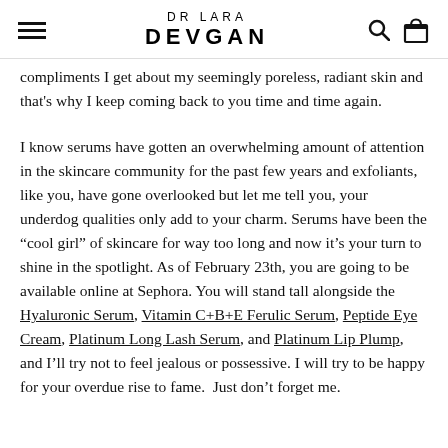DR LARA DEVGAN
compliments I get about my seemingly poreless, radiant skin and that’s why I keep coming back to you time and time again.
I know serums have gotten an overwhelming amount of attention in the skincare community for the past few years and exfoliants, like you, have gone overlooked but let me tell you, your underdog qualities only add to your charm. Serums have been the “cool girl” of skincare for way too long and now it’s your turn to shine in the spotlight. As of February 23th, you are going to be available online at Sephora. You will stand tall alongside the Hyaluronic Serum, Vitamin C+B+E Ferulic Serum, Peptide Eye Cream, Platinum Long Lash Serum, and Platinum Lip Plump, and I’ll try not to feel jealous or possessive. I will try to be happy for your overdue rise to fame. Just don’t forget me.